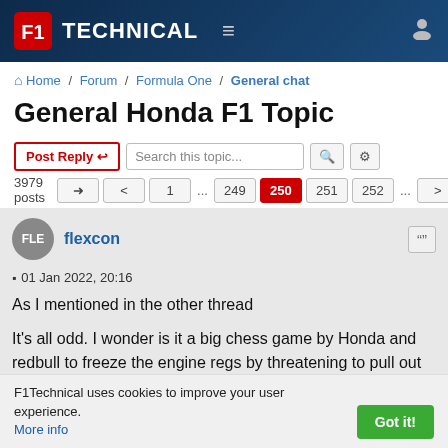F1Technical — site header with logo, menu, and user icon
Home / Forum / Formula One / General chat
General Honda F1 Topic
Post Reply | Search this topic... | 3979 posts | 1 ... 249 250 251 252 ...
flexcon
01 Jan 2022, 20:16

As I mentioned in the other thread

It's all odd. I wonder is it a big chess game by Honda and redbull to freeze the engine regs by threatening to pull out
F1Technical uses cookies to improve your user experience. More info | Got it!